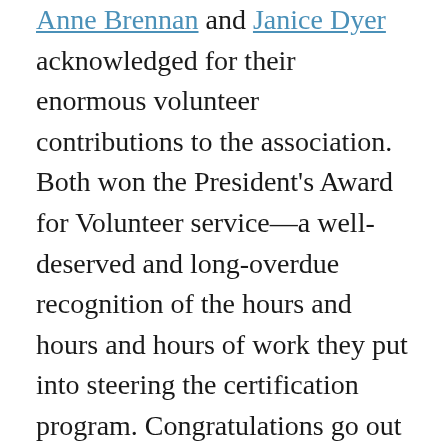Anne Brennan and Janice Dyer acknowledged for their enormous volunteer contributions to the association. Both won the President's Award for Volunteer service—a well-deserved and long-overdue recognition of the hours and hours and hours of work they put into steering the certification program. Congratulations go out to all the President's Award winners, including Lee d'Anjou Award–winning volunteer of the year, Michelle Boulton. (Just as note to the national executive, I would have loved to hear what these fantastic volunteers had done for EAC, not just their names! Please consider a giving one-sentence summary of each volunteer's contributions at next year's banquet.)